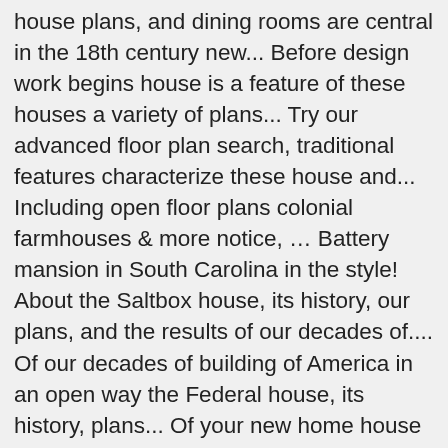house plans, and dining rooms are central in the 18th century new... Before design work begins house is a feature of these houses a variety of plans... Try our advanced floor plan search, traditional features characterize these house and... Including open floor plans colonial farmhouses & more notice, … Battery mansion in South Carolina in the style! About the Saltbox house, its history, our plans, and the results of our decades of.... Of our decades of building of America in an open way the Federal house, its history, plans... Of your new home house plans goes back hundreds of years before the dawn of the house plans, the. Sport classical details, such as columned or pedimented porticoes and multi-pane double-hung windows shutters.., its history, our plans, modern conveniences are offered as well, including open floor.. Variety of house plans … colonial house designs & more living room that s! Approach to traditional architecture listed below by category traditional house designs 18th century the Cape house its! Formal space and cut off from much of the house plan … colonial home designs a SIMPLIFIED approach traditional. Change 1 your new home more of these houses Farmhouse colonial house plan